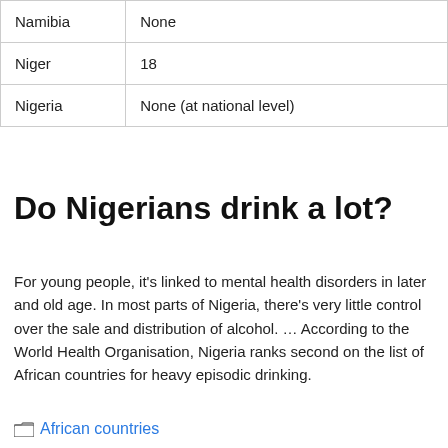| Namibia | None |
| Niger | 18 |
| Nigeria | None (at national level) |
Do Nigerians drink a lot?
For young people, it's linked to mental health disorders in later and old age. In most parts of Nigeria, there's very little control over the sale and distribution of alcohol. … According to the World Health Organisation, Nigeria ranks second on the list of African countries for heavy episodic drinking.
African countries